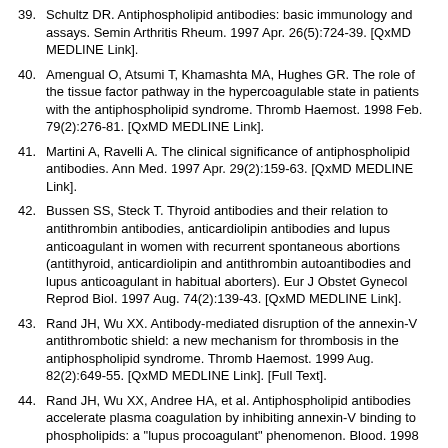39. Schultz DR. Antiphospholipid antibodies: basic immunology and assays. Semin Arthritis Rheum. 1997 Apr. 26(5):724-39. [QxMD MEDLINE Link].
40. Amengual O, Atsumi T, Khamashta MA, Hughes GR. The role of the tissue factor pathway in the hypercoagulable state in patients with the antiphospholipid syndrome. Thromb Haemost. 1998 Feb. 79(2):276-81. [QxMD MEDLINE Link].
41. Martini A, Ravelli A. The clinical significance of antiphospholipid antibodies. Ann Med. 1997 Apr. 29(2):159-63. [QxMD MEDLINE Link].
42. Bussen SS, Steck T. Thyroid antibodies and their relation to antithrombin antibodies, anticardiolipin antibodies and lupus anticoagulant in women with recurrent spontaneous abortions (antithyroid, anticardiolipin and antithrombin autoantibodies and lupus anticoagulant in habitual aborters). Eur J Obstet Gynecol Reprod Biol. 1997 Aug. 74(2):139-43. [QxMD MEDLINE Link].
43. Rand JH, Wu XX. Antibody-mediated disruption of the annexin-V antithrombotic shield: a new mechanism for thrombosis in the antiphospholipid syndrome. Thromb Haemost. 1999 Aug. 82(2):649-55. [QxMD MEDLINE Link]. [Full Text].
44. Rand JH, Wu XX, Andree HA, et al. Antiphospholipid antibodies accelerate plasma coagulation by inhibiting annexin-V binding to phospholipids: a "lupus procoagulant" phenomenon. Blood. 1998 Sep 1. 92(5):1652-60. [QxMD MEDLINE Link]. [Full Text].
45. Rauch J. Lupus anticoagulant antibodies: recognition of phospholipid-binding protein complexes. Lupus. 1998. 7 suppl 2:S29-31. [QxMD MEDLINE Link].
46. Rote NS, Vogt E, DeVere G, Obringer AR, Ng AK. The role of placental trophoblast in the pathophysiology of the antiphospholipid antibody